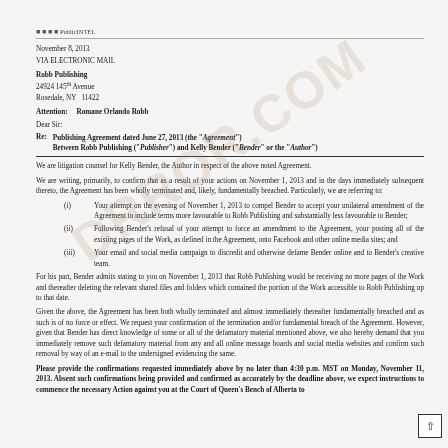■ ■ ■ ■ PublicINTEL
November 8, 2013
VIA ELECTRONIC MAIL
Robb Publishing
24924 145th Avenue
Rosedale, NY  11422
Attention:    Romane Orlando Robb
Dear Sir:
Re: Publishing Agreement dated June 27, 2013 (the "Agreement")
Between Robb Publishing ("Publisher") and Kelly Bender ("Bender" or the "Author")
We are litigation counsel for Kelly Bender, the Author in respect of the above noted Agreement.
We are writing, primarily, to confirm that as a result of your actions on November 1, 2013 and in the days immediately subsequent thereto, the Agreement has been wholly terminated and, likely, fundamentally breached. Particularly, we are referring to:
(i) Your attempt on the evening of November 1, 2013 to compel Bender to accept your unilateral amendment of the Agreement to include terms more favourable to Robb Publishing and substantially less favourable to Bender;
(ii) Following Bender's refusal of your attempt to force an amendment to the Agreement, your posting all of the existing pages of the Work, as defined in the Agreement, onto Facebook and other online media sites; and
(iii) Your email and social media campaign to discredit and otherwise defame Bender online and to Bender's creative team.
For his part, Bender admits stating to you on November 1, 2013 that Robb Publishing would be receiving no more pages of the Work and thereafter deleting the relevant shared files and folders which contained the portion of the Work accessible to Robb Publishing up to that date.
Given the above, the Agreement has been both wholly terminated and almost immediately thereafter fundamentally breached and as such is of no force or effect. We request your confirmation of the termination and/or fundamental breach of the Agreement. However, given that Bender has direct knowledge of some or all of the defamatory material mentioned above, we also hereby demand that you immediately remove such defamatory material from any and all online message boards and social media websites and confirm such removal by way of an e-mail to the undersigned evidencing the same.
Please provide the confirmations requested immediately above by no later than 4:30 p.m. MST on Monday, November 11, 2013. Absent such confirmations being provided and confirmed as accurately by the deadline above, we expect instructions to commence the necessary Action against you at the Court of Queen's Bench of Alberta to